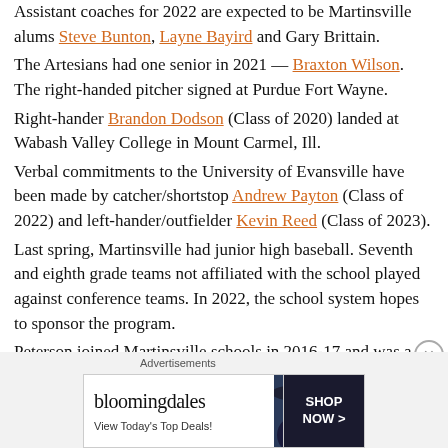Assistant coaches for 2022 are expected to be Martinsville alums Steve Bunton, Layne Bayird and Gary Brittain. The Artesians had one senior in 2021 — Braxton Wilson. The right-handed pitcher signed at Purdue Fort Wayne. Right-hander Brandon Dodson (Class of 2020) landed at Wabash Valley College in Mount Carmel, Ill. Verbal commitments to the University of Evansville have been made by catcher/shortstop Andrew Payton (Class of 2022) and left-hander/outfielder Kevin Reed (Class of 2023). Last spring, Martinsville had junior high baseball. Seventh and eighth grade teams not affiliated with the school played against conference teams. In 2022, the school system hopes to sponsor the program. Peterson joined Martinsville schools in 2016-17 and was a baseball assistant to Jeff Scott for two seasons (2017-18). The Artesians won a sectional title in 2017.
[Figure (other): Bloomingdale's advertisement banner with 'View Today's Top Deals!' tagline and 'SHOP NOW >' button]